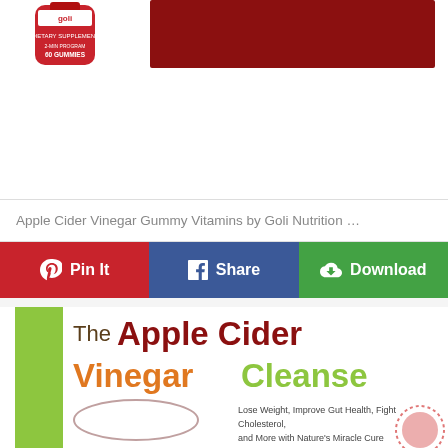[Figure (photo): Top portion of a product listing showing a red Goli Apple Cider Vinegar Gummy Vitamins bottle on the left and a red rectangular product image area on the right, with white space below.]
Apple Cider Vinegar Gummy Vitamins by Goli Nutrition …
[Figure (infographic): Three social sharing buttons in a horizontal bar: 'Pin It' (red with Pinterest logo), 'Share' (blue with Facebook logo), 'Download' (green with cloud/download icon).]
[Figure (photo): Book cover for 'The Apple Cider Vinegar Cleanse' with a green stripe on the left, large stylized title text in dark red, orange, and lime green, subtitle text 'Lose Weight, Improve Gut Health, Fight Cholesterol, and More with Nature's Miracle Cure', and a spoon/oval illustration at bottom left and a pink dotted circle at bottom right.]